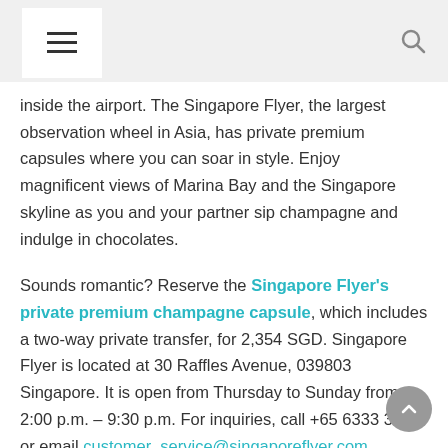[hamburger menu icon] [search icon]
inside the airport. The Singapore Flyer, the largest observation wheel in Asia, has private premium capsules where you can soar in style. Enjoy magnificent views of Marina Bay and the Singapore skyline as you and your partner sip champagne and indulge in chocolates.

Sounds romantic? Reserve the Singapore Flyer's private premium champagne capsule, which includes a two-way private transfer, for 2,354 SGD. Singapore Flyer is located at 30 Raffles Avenue, 039803 Singapore. It is open from Thursday to Sunday from 2:00 p.m. – 9:30 p.m. For inquiries, call +65 6333 3311 or email customer_service@singaporeflyer.com.